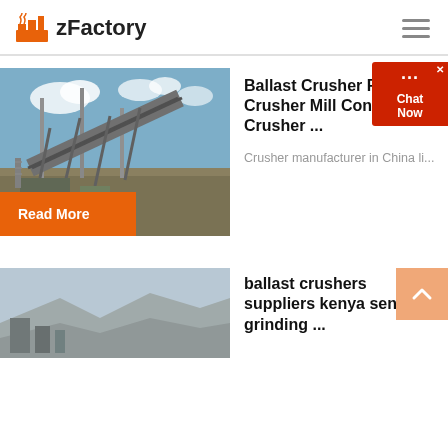zFactory
[Figure (photo): Industrial ballast crusher machinery with conveyor belts and steel framework against blue sky]
Ballast Crusher For Sale | Crusher Mill Cone Crusher ...
Crusher manufacturer in China li...
Read More
[Figure (photo): Ballast crushers site in Kenya, landscape view with machinery]
ballast crushers suppliers kenya senior grinding ...